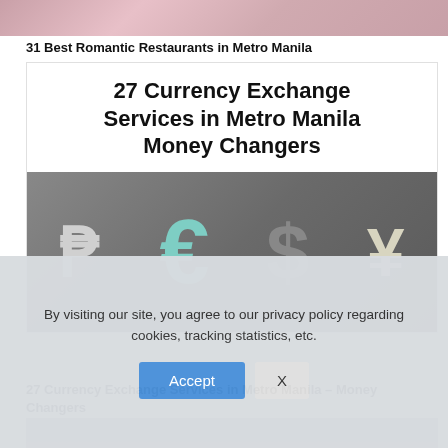[Figure (photo): Top portion of a photo, partially cropped, appears to be a restaurant or food scene with pink/warm tones]
31 Best Romantic Restaurants in Metro Manila
27 Currency Exchange Services in Metro Manila Money Changers
[Figure (photo): Photo of 3D currency symbols: Philippine Peso (white), Euro (teal/mint), US Dollar (grey), and Yen (cream/white) arranged on a grey background]
27 Currency Exchange Services in Metro Manila – Money Changers
[Figure (photo): Partial view of another article image, mostly grey, at bottom of page]
By visiting our site, you agree to our privacy policy regarding cookies, tracking statistics, etc.